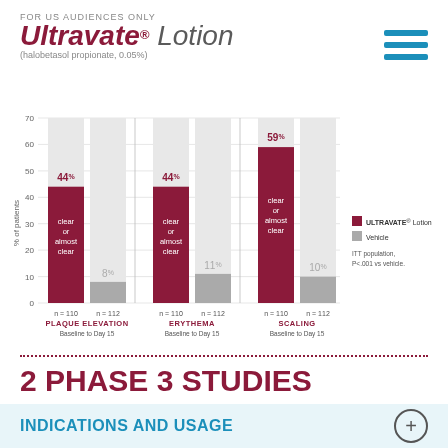FOR US AUDIENCES ONLY
Ultravate® Lotion (halobetasol propionate, 0.05%)
[Figure (grouped-bar-chart): % of patients achieving clear or almost clear]
2 PHASE 3 STUDIES
INDICATIONS AND USAGE